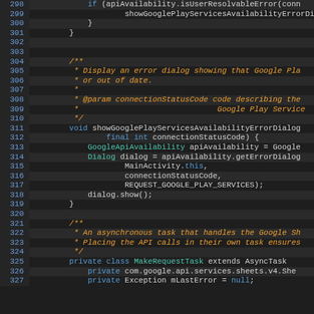[Figure (screenshot): Code editor screenshot showing Java source code lines 298-327 with syntax highlighting on dark background. Orange keywords, blue line numbers, teal type names.]